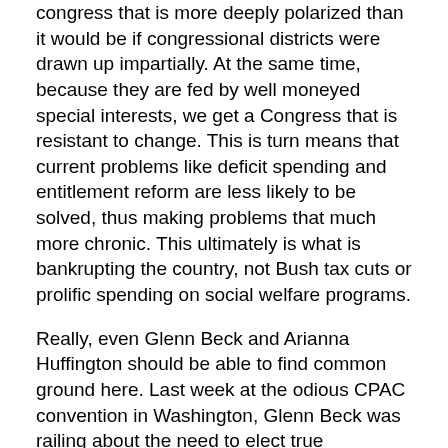congress that is more deeply polarized than it would be if congressional districts were drawn up impartially. At the same time, because they are fed by well moneyed special interests, we get a Congress that is resistant to change. This is turn means that current problems like deficit spending and entitlement reform are less likely to be solved, thus making problems that much more chronic. This ultimately is what is bankrupting the country, not Bush tax cuts or prolific spending on social welfare programs.
Really, even Glenn Beck and Arianna Huffington should be able to find common ground here. Last week at the odious CPAC convention in Washington, Glenn Beck was railing about the need to elect true Conservatives instead of Republicans. Arianna Huffington is one of many liberals, like me, feeling disenfranchised by supposed “Democrats” in Congress. Beck is frustrated because he cannot get rid of the welfare state. Why? Because Republicans will ultimately do the bidding of those who give them money. There are plenty of Republicans, like Congressman Wolf, who take heaps of money from senior citizens lobbies, so don’t expect him to vote to kill Medicare. Huffington meanwhile is in a huff because Democrats like North